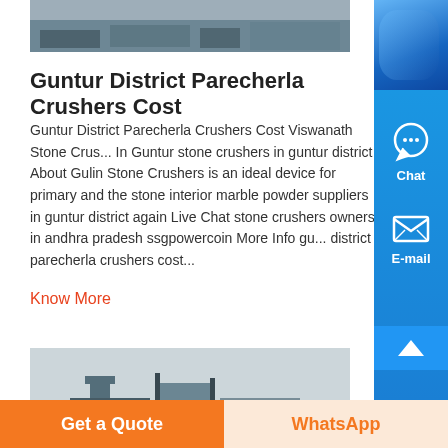[Figure (photo): Aerial or ground view of a stone crushing site/quarry]
Guntur District Parecherla Crushers Cost
Guntur District Parecherla Crushers Cost Viswanath Stone Crus... In Guntur stone crushers in guntur district About Gulin Stone Crushers is an ideal device for primary and the stone interior marble powder suppliers in guntur district again Live Chat stone crushers owners in andhra pradesh ssgpowercoin More Info gu... district parecherla crushers cost...
Know More
[Figure (photo): Industrial crusher/mining equipment at a facility]
Get a Quote
WhatsApp